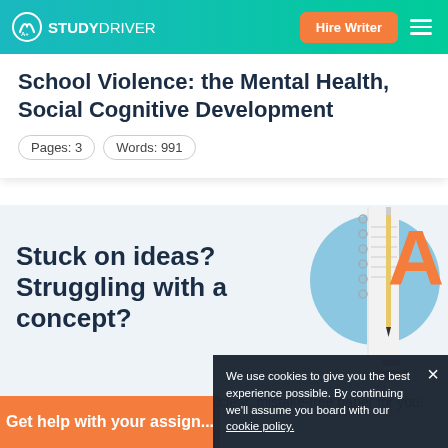STUDYDRIVER — Hire Writer
School Violence: the Mental Health, Social Cognitive Development
Pages: 3   Words: 991
[Figure (illustration): Promotional illustration with notebook, letter A, and blue circle on light blue background]
Stuck on ideas? Struggling with a concept?
A professional writer will make a clear, mistake-free paper for you!
Get help with your assignment
We use cookies to give you the best experience possible. By continuing we'll assume you board with our cookie policy.